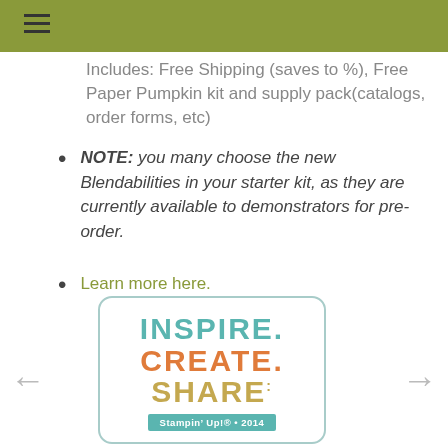≡
Includes: Free Shipping (saves to %), Free Paper Pumpkin kit and supply pack(catalogs, order forms, etc)
NOTE: you many choose the new Blendabilities in your starter kit, as they are currently available to demonstrators for pre-order.
Learn more here.
[Figure (logo): Stampin Up 2014 logo with INSPIRE. CREATE. SHARE. text in teal, orange, and gold colors inside a rounded rectangle border]